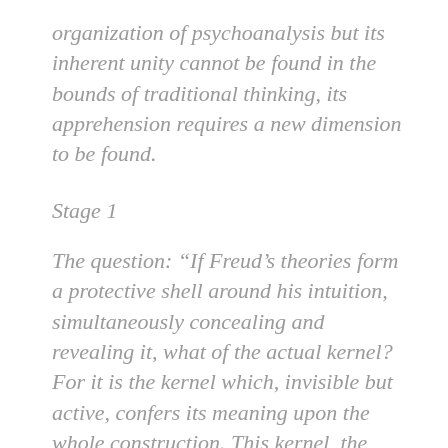organization of psychoanalysis but its inherent unity cannot be found in the bounds of traditional thinking, its apprehension requires a new dimension to be found.
Stage 1
The question: “If Freud’s theories form a protective shell around his intuition, simultaneously concealing and revealing it, what of the actual kernel? For it is the kernel which, invisible but active, confers its meaning upon the whole construction. This kernel, the active principal of psychoanalytic theory, will not show through unless all the apparent